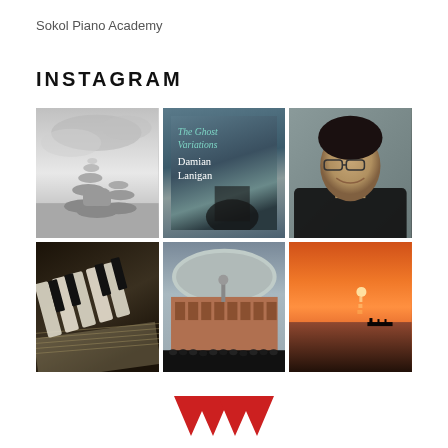Sokol Piano Academy
INSTAGRAM
[Figure (photo): Six Instagram photos: B&W stacked stones, book cover 'The Ghost Variations' by Damian Lanigan, portrait of young man with glasses, close-up of piano keys with sheet music, Royal Albert Hall exterior with crowd, orange sunset over water]
[Figure (logo): Partial red W-shaped logo at bottom center]